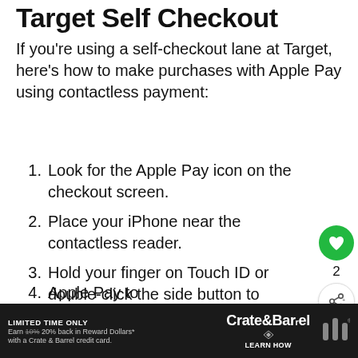Target Self Checkout
If you're using a self-checkout lane at Target, here's how to make purchases with Apple Pay using contactless payment:
Look for the Apple Pay icon on the checkout screen.
Place your iPhone near the contactless reader.
Hold your finger on Touch ID or double-click the side button to confirm the payment.
4. [partial — Apple Pay to...]
LIMITED TIME ONLY Earn 10% 20% back in Reward Dollars* with a Crate & Barrel credit card. Crate&Barrel LEARN HOW